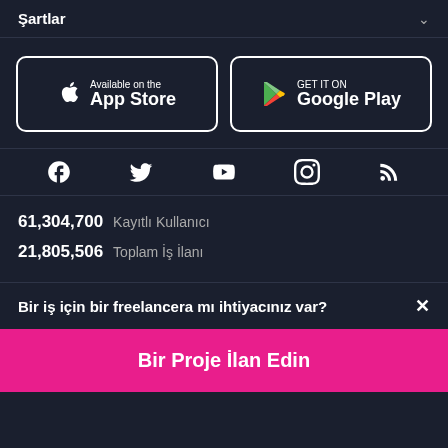Şartlar
[Figure (logo): App Store and Google Play download buttons]
[Figure (infographic): Social media icons: Facebook, Twitter, YouTube, Instagram, RSS]
61,304,700  Kayıtlı Kullanıcı
21,805,506  Toplam İş İlanı
Bir iş için bir freelancera mı ihtiyacınız var?  ×
Bir Proje İlan Edin